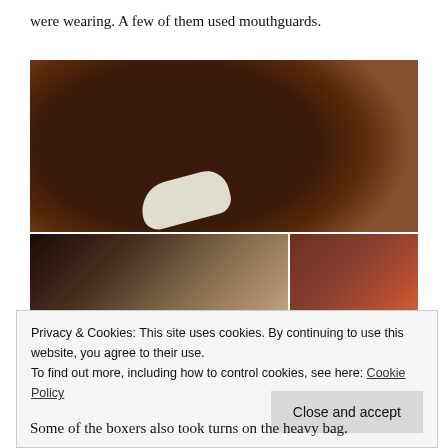were wearing. A few of them used mouthguards.
[Figure (photo): Top image: close-up of a muscular boxer, dark skin, grimacing, with white boxing gloves. Bottom-left: a young male boxer in gray shirt with black gloves in a gym. Bottom-right: two boxers, one in red jersey, leaning together.]
Privacy & Cookies: This site uses cookies. By continuing to use this website, you agree to their use.
To find out more, including how to control cookies, see here: Cookie Policy
Some of the boxers also took turns on the heavy bag.